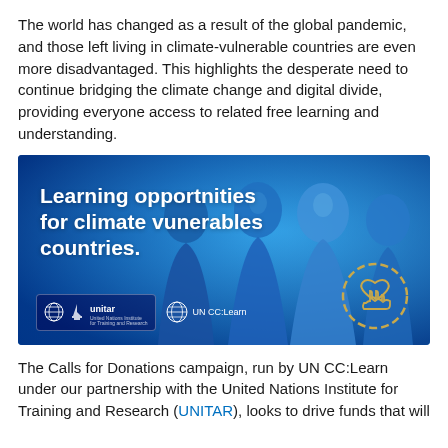The world has changed as a result of the global pandemic, and those left living in climate-vulnerable countries are even more disadvantaged. This highlights the desperate need to continue bridging the climate change and digital divide, providing everyone access to related free learning and understanding.
[Figure (photo): Promotional banner image with blue-tinted photo of people smiling, overlaid with text 'Learning opportnities for climate vunerables countries.' and logos for UNITAR and UN CC:Learn, with a gold heart/hand icon in a circle on the right.]
The Calls for Donations campaign, run by UN CC:Learn under our partnership with the United Nations Institute for Training and Research (UNITAR), looks to drive funds that will